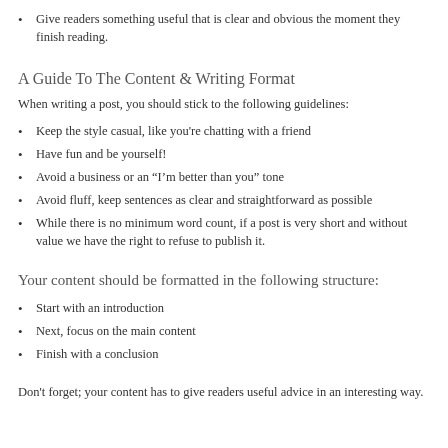Give readers something useful that is clear and obvious the moment they finish reading.
A Guide To The Content & Writing Format
When writing a post, you should stick to the following guidelines:
Keep the style casual, like you’re chatting with a friend
Have fun and be yourself!
Avoid a business or an “I’m better than you” tone
Avoid fluff, keep sentences as clear and straightforward as possible
While there is no minimum word count, if a post is very short and without value we have the right to refuse to publish it.
Your content should be formatted in the following structure:
Start with an introduction
Next, focus on the main content
Finish with a conclusion
Don’t forget; your content has to give readers useful advice in an interesting way.